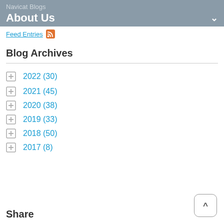Navicat Blogs
About Us
Feed Entries
Blog Archives
2022 (30)
2021 (45)
2020 (38)
2019 (33)
2018 (50)
2017 (8)
Share